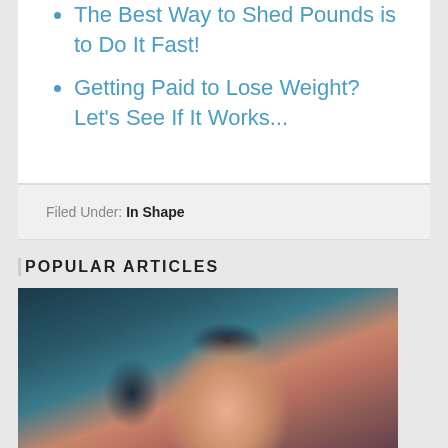The Best Way to Shed Pounds is to Do It Fast!
Getting Paid to Lose Weight? Let's See If It Works...
Filed Under: In Shape
POPULAR ARTICLES
[Figure (photo): Close-up portrait photo of a woman with dark hair, looking toward the camera, taken inside a car]